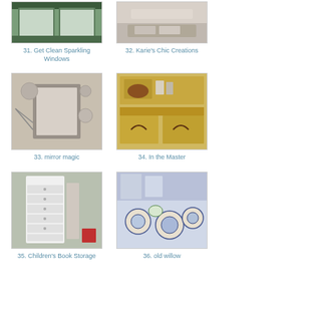[Figure (photo): Photo of sparkling windows with sunlight coming through]
31. Get Clean Sparkling Windows
[Figure (photo): Photo of a bedroom with pillows]
32. Karie's Chic Creations
[Figure (photo): Photo of a mirror arrangement on a wall]
33. mirror magic
[Figure (photo): Photo of a wooden dresser with items on top]
34. In the Master
[Figure (photo): Photo of a white tall dresser used for children's book storage]
35. Children's Book Storage
[Figure (photo): Photo of blue and white willow patterned plates on a table]
36. old willow